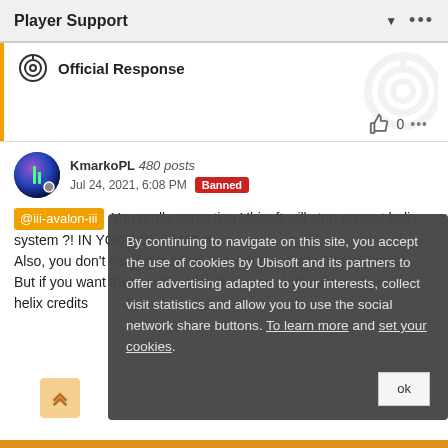Player Support
Official Response
KmarkoPL 480 posts
Jul 24, 2021, 6:08 PM  Banned
@iii-avalon-iii You really expecting Ubisoft will stop current helix system ?! IN YOUR DREAMS !!
Also, you don't need this items to finish the game, they optional.
But if you want them, either play the game and earn gold, or buy helix credits
By continuing to navigate on this site, you accept the use of cookies by Ubisoft and its partners to offer advertising adapted to your interests, collect visit statistics and allow you to use the social network share buttons. To learn more and set your cookies.